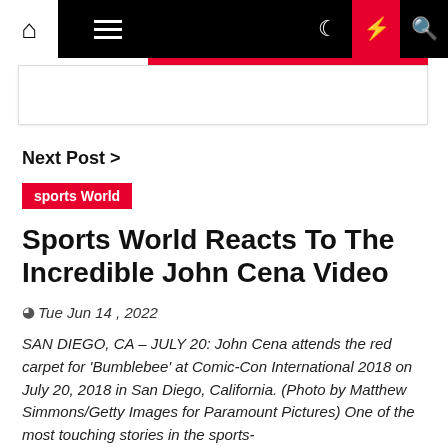Navigation bar with home, menu, moon, lightning, and search icons
Next Post >
sports World
Sports World Reacts To The Incredible John Cena Video
Tue Jun 14 , 2022
SAN DIEGO, CA – JULY 20: John Cena attends the red carpet for 'Bumblebee' at Comic-Con International 2018 on July 20, 2018 in San Diego, California. (Photo by Matthew Simmons/Getty Images for Paramount Pictures) One of the most touching stories in the sports-